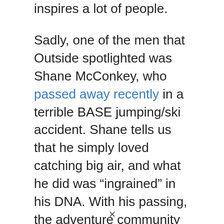inspires a lot of people.
Sadly, one of the men that Outside spotlighted was Shane McConkey, who passed away recently in a terrible BASE jumping/ski accident. Shane tells us that he simply loved catching big air, and what he did was “ingrained” in his DNA. With his passing, the adventure community lost a great person, but shane was living the life he wanted and going after his goals.